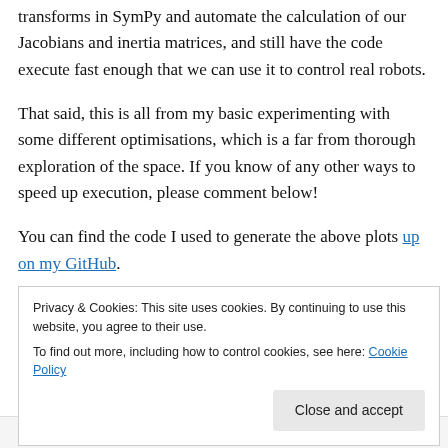transforms in SymPy and automate the calculation of our Jacobians and inertia matrices, and still have the code execute fast enough that we can use it to control real robots.
That said, this is all from my basic experimenting with some different optimisations, which is a far from thorough exploration of the space. If you know of any other ways to speed up execution, please comment below!
You can find the code I used to generate the above plots up on my GitHub.
Privacy & Cookies: This site uses cookies. By continuing to use this website, you agree to their use.
To find out more, including how to control cookies, see here: Cookie Policy
Follow ···